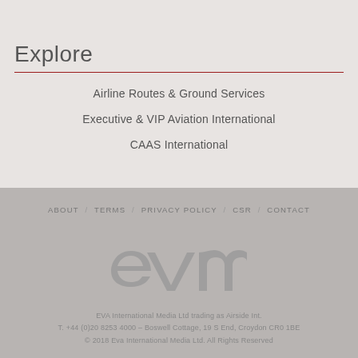Explore
Airline Routes & Ground Services
Executive & VIP Aviation International
CAAS International
ABOUT / TERMS / PRIVACY POLICY / CSR / CONTACT
EVA International Media Ltd trading as Airside Int.
T. +44 (0)20 8253 4000 – Boswell Cottage, 19 S End, Croydon CR0 1BE
© 2018 Eva International Media Ltd. All Rights Reserved